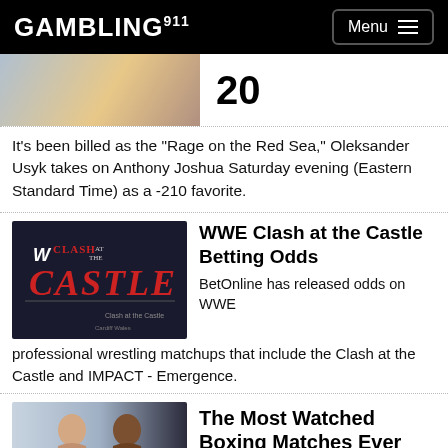GAMBLING911 Menu
20
It's been billed as the "Rage on the Red Sea," Oleksander Usyk takes on Anthony Joshua Saturday evening (Eastern Standard Time) as a -210 favorite.
[Figure (photo): WWE Clash at the Castle logo on dark background]
WWE Clash at the Castle Betting Odds
BetOnline has released odds on WWE professional wrestling matchups that include the Clash at the Castle and IMPACT - Emergence.
[Figure (photo): Two boxers facing each other in profile]
The Most Watched Boxing Matches Ever